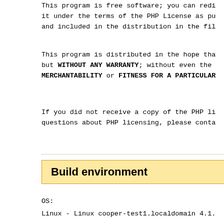This program is free software; you can redi
it under the terms of the PHP License as pu
and included in the distribution in the fil
This program is distributed in the hope tha
but WITHOUT ANY WARRANTY; without even the
MERCHANTABILITY or FITNESS FOR A PARTICULAR
If you did not receive a copy of the PHP li
questions about PHP licensing, please conta
Build environment
OS:
Linux - Linux cooper-test1.localdomain 4.1.